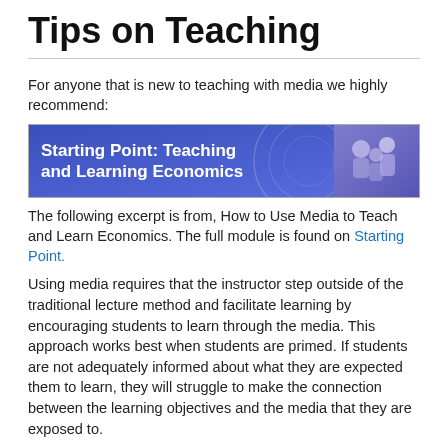Tips on Teaching
For anyone that is new to teaching with media we highly recommend:
[Figure (illustration): Banner image for 'Starting Point: Teaching and Learning Economics' with blue gradient background, decorative circular lines, and a photo of students on the right side.]
The following excerpt is from, How to Use Media to Teach and Learn Economics. The full module is found on Starting Point.
Using media requires that the instructor step outside of the traditional lecture method and facilitate learning by encouraging students to learn through the media. This approach works best when students are primed. If students are not adequately informed about what they are expected them to learn, they will struggle to make the connection between the learning objectives and the media that they are exposed to.
When to introduce media?
Before learning the concept. Showing media before the discussion gives students an image to which they can compare the topics under discussion. This approach allows quick reference to easily recalled examples. Schwartz and Bransford (1998) show that demonstrations focused on contrasting cases help students